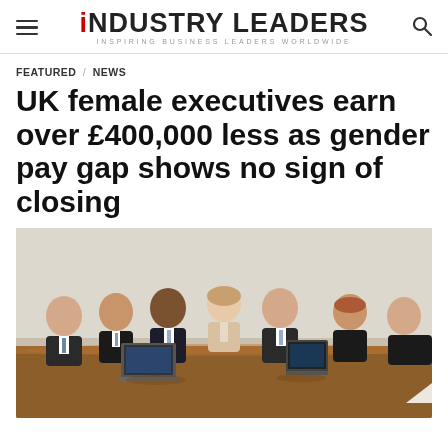iNDUSTRY LEADERS — INSPIRING BUSINESS LEADERS WORLDWIDE
FEATURED / NEWS
UK female executives earn over £400,000 less as gender pay gap shows no sign of closing
[Figure (photo): Business meeting scene with seven professionals (one woman and six men) seated around a conference table, with laptops and tablets visible.]